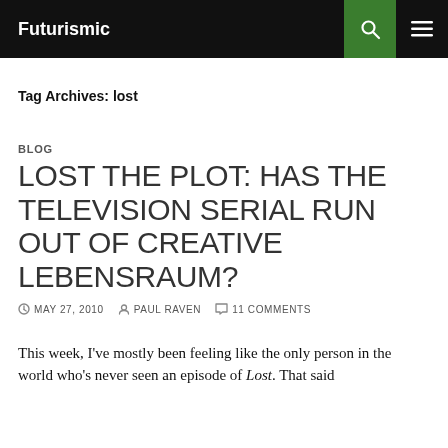Futurismic
Tag Archives: lost
BLOG
LOST THE PLOT: HAS THE TELEVISION SERIAL RUN OUT OF CREATIVE LEBENSRAUM?
MAY 27, 2010  PAUL RAVEN  11 COMMENTS
This week, I've mostly been feeling like the only person in the world who's never seen an episode of Lost. That said